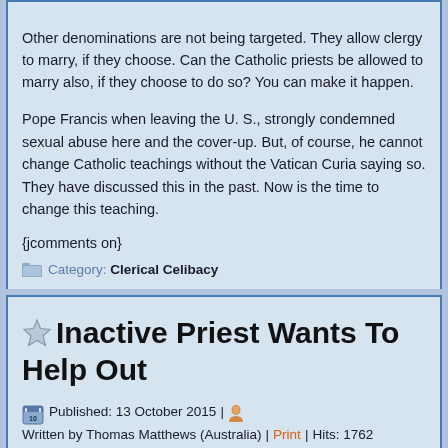Other denominations are not being targeted. They allow clergy to marry, if they choose. Can the Catholic priests be allowed to marry also, if they choose to do so? You can make it happen.
Pope Francis when leaving the U. S., strongly condemned sexual abuse here and the cover-up. But, of course, he cannot change Catholic teachings without the Vatican Curia saying so. They have discussed this in the past. Now is the time to change this teaching.
{jcomments on}
Category: Clerical Celibacy
Inactive Priest Wants To Help Out
Published: 13 October 2015 | Written by Thomas Matthews (Australia) | Print | Hits: 1762